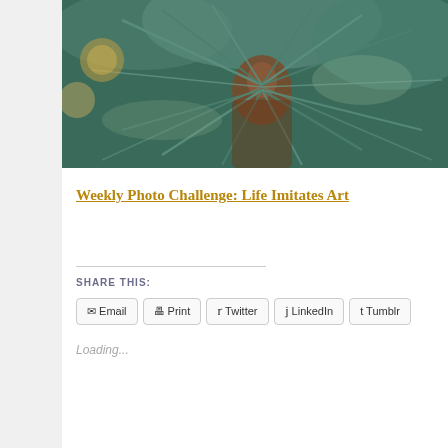[Figure (photo): Close-up photo of blue-green pine/fir tree needles with brown bark visible at center, and bokeh Christmas ornaments in background]
Weekly Photo Challenge: Life Imitates Art
SHARE THIS:
Email  Print  Twitter  LinkedIn  Tumblr
Loading...